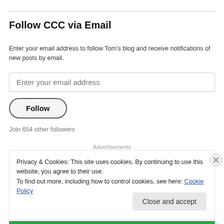Follow CCC via Email
Enter your email address to follow Tom's blog and receive notifications of new posts by email.
Enter your email address
Follow
Join 654 other followers
Advertisements
Privacy & Cookies: This site uses cookies. By continuing to use this website, you agree to their use.
To find out more, including how to control cookies, see here: Cookie Policy
Close and accept